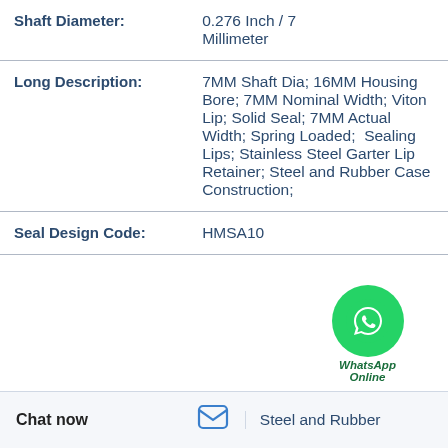| Field | Value |
| --- | --- |
| Shaft Diameter: | 0.276 Inch / 7 Millimeter |
| Long Description: | 7MM Shaft Dia; 16MM Housing Bore; 7MM Nominal Width; Viton Lip; Solid Seal; 7MM Actual Width; Spring Loaded; 2 Sealing Lips; Stainless Steel Garter Lip Retainer; Steel and Rubber Case Construction; |
| Seal Design Code: | HMSA10 |
[Figure (logo): WhatsApp green circle logo with phone icon, labeled 'WhatsApp Online']
Chat now | Steel and Rubber